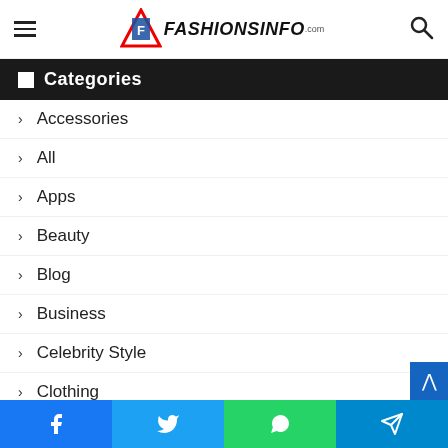FashionsInfo.com
Categories
Accessories
All
Apps
Beauty
Blog
Business
Celebrity Style
Clothing
Culture
Designers
Facebook | Twitter | WhatsApp | Telegram